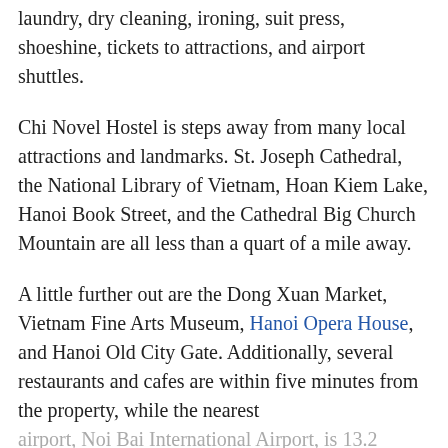laundry, dry cleaning, ironing, suit press, shoeshine, tickets to attractions, and airport shuttles.
Chi Novel Hostel is steps away from many local attractions and landmarks. St. Joseph Cathedral, the National Library of Vietnam, Hoan Kiem Lake, Hanoi Book Street, and the Cathedral Big Church Mountain are all less than a quart of a mile away.
A little further out are the Dong Xuan Market, Vietnam Fine Arts Museum, Hanoi Opera House, and Hanoi Old City Gate. Additionally, several restaurants and cafes are within five minutes from the property, while the nearest airport, Noi Bai International Airport, is 13.2 miles away.